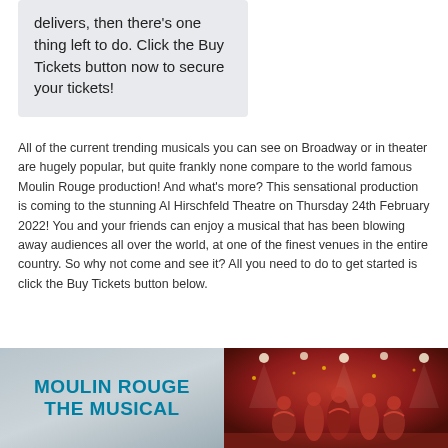delivers, then there's one thing left to do. Click the Buy Tickets button now to secure your tickets!
All of the current trending musicals you can see on Broadway or in theater are hugely popular, but quite frankly none compare to the world famous Moulin Rouge production! And what's more? This sensational production is coming to the stunning Al Hirschfeld Theatre on Thursday 24th February 2022! You and your friends can enjoy a musical that has been blowing away audiences all over the world, at one of the finest venues in the entire country. So why not come and see it? All you need to do to get started is click the Buy Tickets button below.
[Figure (photo): Left half: Moulin Rouge The Musical title text in teal on grey background. Right half: Stage scene with performers in red and gold costumes with dramatic lighting.]